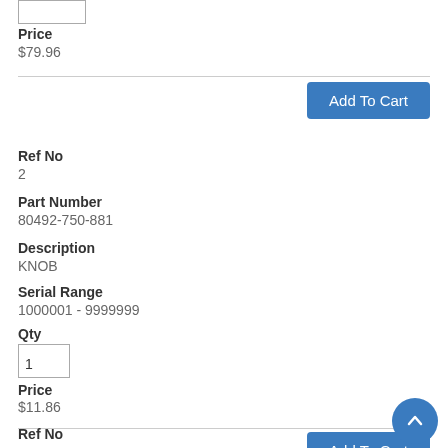Price
$79.96
Add To Cart
Ref No
2
Part Number
80492-750-881
Description
KNOB
Serial Range
1000001 - 9999999
Qty
1
Price
$11.86
Add To Cart
Ref No